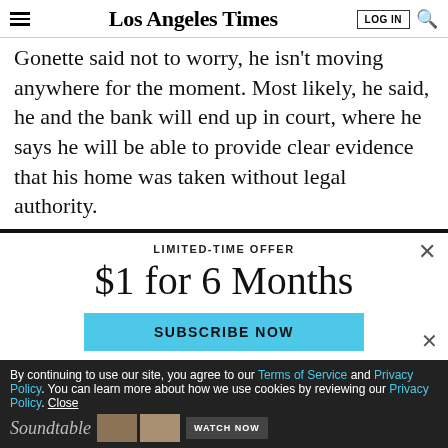Los Angeles Times
Gonette said not to worry, he isn't moving anywhere for the moment. Most likely, he said, he and the bank will end up in court, where he says he will be able to provide clear evidence that his home was taken without legal authority.
LIMITED-TIME OFFER
$1 for 6 Months
SUBSCRIBE NOW
By continuing to use our site, you agree to our Terms of Service and Privacy Policy. You can learn more about how we use cookies by reviewing our Privacy Policy. Close